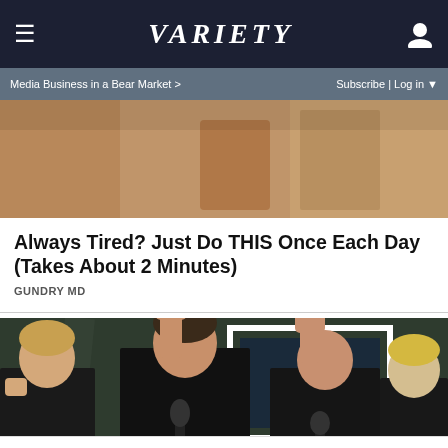VARIETY
Media Business in a Bear Market >
Subscribe | Log in
[Figure (photo): Partial/cropped image visible at top, appears to be clothing or fabric in warm brown/tan tones]
Always Tired? Just Do THIS Once Each Day (Takes About 2 Minutes)
GUNDRY MD
[Figure (photo): K-pop group performing on stage, members in black outfits with raised fists holding microphones, concert setting with blue and white backdrop]
X
Dine-in
Curbside pickup